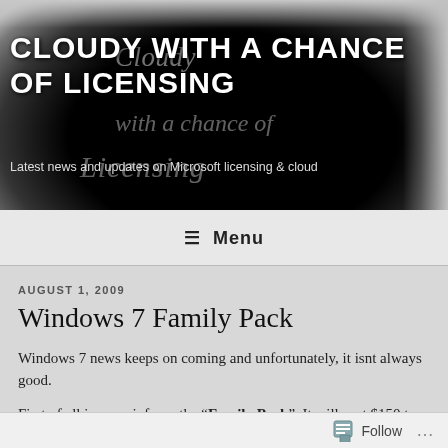[Figure (screenshot): Blog header banner with dark cloud background showing 'CLOUDY WITH A CHANCE OF LICENSING' in white uppercase bold text, overlaid with italic 'Cloudy with a chance of Licensing' in light gray, and tagline 'Latest news and updates on Microsoft licensing & cloud']
CLOUDY WITH A CHANCE OF LICENSING
Latest news and updates on Microsoft licensing & cloud
≡ Menu
AUGUST 1, 2009
Windows 7 Family Pack
Windows 7 news keeps on coming and unfortunately, it isnt always good.
First of all is more info on the "Family Pack". It will cost $150 to upgrade 3 Pcs in the same house to Windows